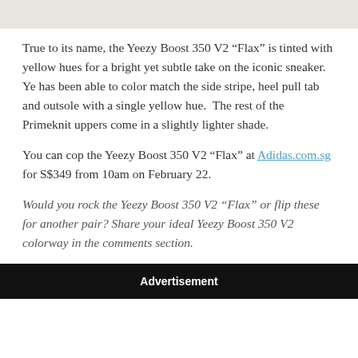[Figure (photo): Partial image at top of page with light beige/gray background]
True to its name, the Yeezy Boost 350 V2 “Flax” is tinted with yellow hues for a bright yet subtle take on the iconic sneaker. Ye has been able to color match the side stripe, heel pull tab and outsole with a single yellow hue.  The rest of the Primeknit uppers come in a slightly lighter shade.
You can cop the Yeezy Boost 350 V2 “Flax” at Adidas.com.sg for S$349 from 10am on February 22.
Would you rock the Yeezy Boost 350 V2 “Flax” or flip these for another pair? Share your ideal Yeezy Boost 350 V2 colorway in the comments section.
Advertisement